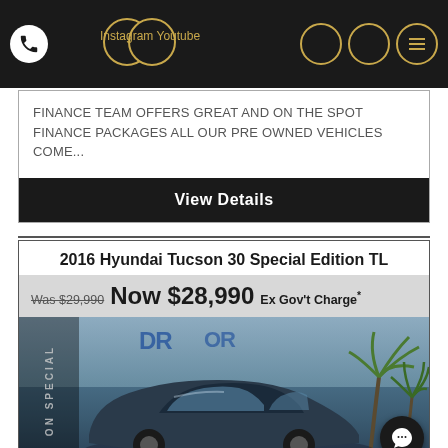[Figure (screenshot): Website navigation bar with dark background, phone icon, Instagram, Youtube social media links, and menu icons in gold circles]
FINANCE TEAM OFFERS GREAT AND ON THE SPOT FINANCE PACKAGES ALL OUR PRE OWNED VEHICLES COME...
View Details
2016 Hyundai Tucson 30 Special Edition TL
Was $29,990 Now $28,990 Ex Gov't Charge*
[Figure (photo): Blue Hyundai Tucson SUV parked at dealership with 'ON SPECIAL' badge overlay and palm trees in background]